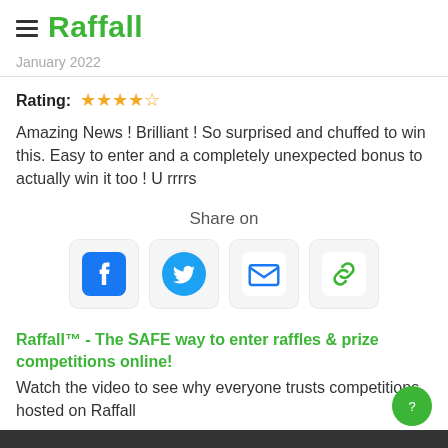Raffall
January 2022
Rating: ★★★★☆
Amazing News ! Brilliant ! So surprised and chuffed to win this. Easy to enter and a completely unexpected bonus to actually win it too ! U rrrrs
Share on
[Figure (infographic): Four social share icon buttons: Facebook (blue square with f), Twitter (blue circle with bird), Email (blue envelope), Link (green chain link)]
Raffall™ - The SAFE way to enter raffles & prize competitions online!
Watch the video to see why everyone trusts competitions hosted on Raffall